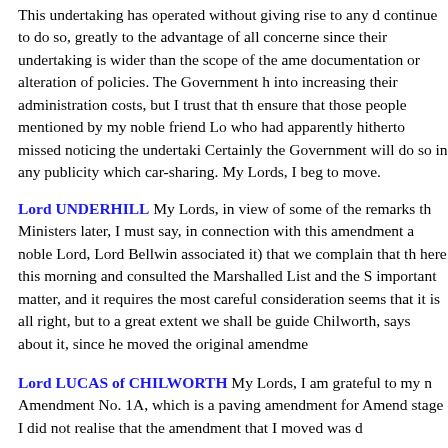This undertaking has operated without giving rise to any d continue to do so, greatly to the advantage of all concerne since their undertaking is wider than the scope of the ame documentation or alteration of policies. The Government h into increasing their administration costs, but I trust that th ensure that those people mentioned by my noble friend Lo who had apparently hitherto missed noticing the undertaki Certainly the Government will do so in any publicity which car-sharing. My Lords, I beg to move.
Lord UNDERHILL My Lords, in view of some of the remarks th Ministers later, I must say, in connection with this amendment a noble Lord, Lord Bellwin associated it) that we complain that th here this morning and consulted the Marshalled List and the S important matter, and it requires the most careful consideration seems that it is all right, but to a great extent we shall be guide Chilworth, says about it, since he moved the original amendme
Lord LUCAS of CHILWORTH My Lords, I am grateful to my n Amendment No. 1A, which is a paving amendment for Amend stage I did not realise that the amendment that I moved was d